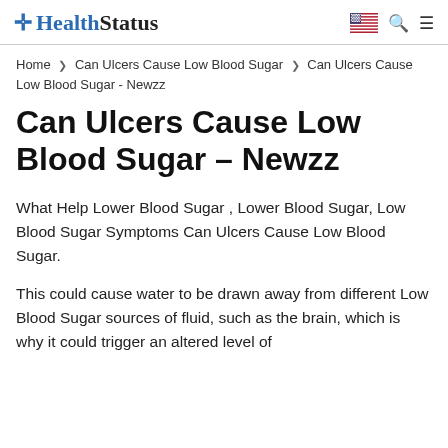HealthStatus
Home ❯ Can Ulcers Cause Low Blood Sugar ❯ Can Ulcers Cause Low Blood Sugar - Newzz
Can Ulcers Cause Low Blood Sugar – Newzz
What Help Lower Blood Sugar , Lower Blood Sugar, Low Blood Sugar Symptoms Can Ulcers Cause Low Blood Sugar.
This could cause water to be drawn away from different Low Blood Sugar sources of fluid, such as the brain, which is why it could trigger an altered level of